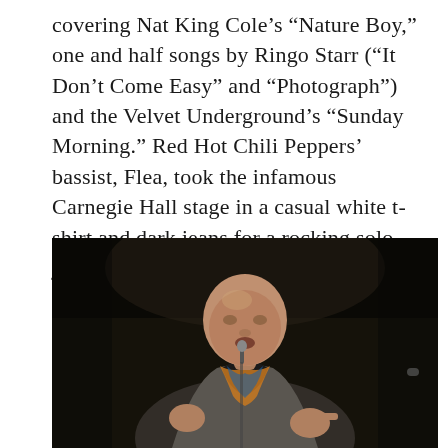covering Nat King Cole’s “Nature Boy,” one and half songs by Ringo Starr (“It Don’t Come Easy” and “Photograph”) and the Velvet Underground’s “Sunday Morning.” Red Hot Chili Peppers’ bassist, Flea, took the infamous Carnegie Hall stage in a casual white t-shirt and dark jeans for a rocking solo jam session on just his bass bringing the rock and roll vibes.
[Figure (photo): A bald man wearing a grey blazer and colorful scarf/neckerchief around his neck, performing on stage with a microphone, gesturing with his hands, against a dark background.]